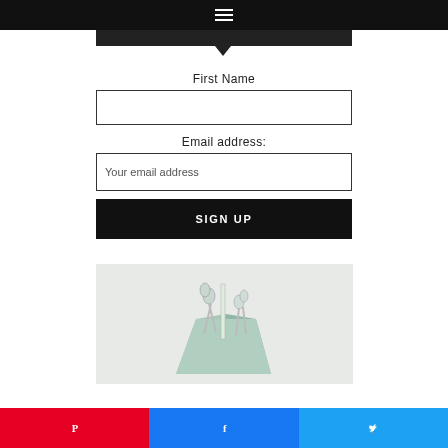≡
First Name
Email address:
Your email address
SIGN UP
[Figure (photo): A mint/pale green desk organizer holding scissors and other stationery items against a light grey background]
Pinterest | Facebook | Twitter share buttons